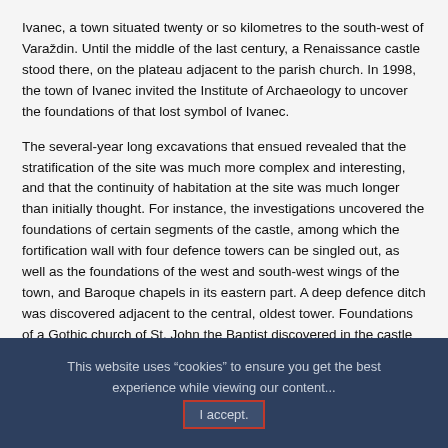Ivanec, a town situated twenty or so kilometres to the south-west of Varaždin. Until the middle of the last century, a Renaissance castle stood there, on the plateau adjacent to the parish church. In 1998, the town of Ivanec invited the Institute of Archaeology to uncover the foundations of that lost symbol of Ivanec.
The several-year long excavations that ensued revealed that the stratification of the site was much more complex and interesting, and that the continuity of habitation at the site was much longer than initially thought. For instance, the investigations uncovered the foundations of certain segments of the castle, among which the fortification wall with four defence towers can be singled out, as well as the foundations of the west and south-west wings of the town, and Baroque chapels in its eastern part. A deep defence ditch was discovered adjacent to the central, oldest tower. Foundations of a Gothic church of St. John the Baptist discovered in the castle courtyard are the legacy of the Knights Hospitaller. The strong-walled sanctuary with massive counterforts may have served as the donjon of the Hospitallers. A little to the north lies the site of an older, Romanesque church with a semi-circular apse. It had a
This website uses “cookies” to ensure you get the best experience while viewing our content... I accept.